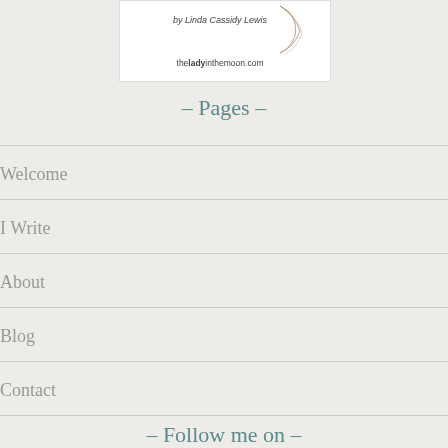[Figure (illustration): Book cover image with text 'by Linda Cassidy Lewis' and 'theladyinthemoon.com' with a decorative moon illustration]
– Pages –
Welcome
I Write
About
Blog
Contact
– Follow me on –